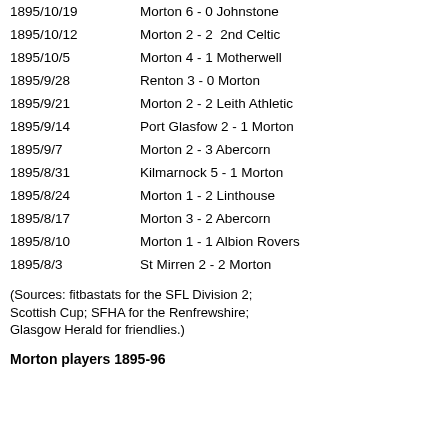1895/10/19   Morton 6 - 0 Johnstone
1895/10/12   Morton 2 - 2  2nd Celtic
1895/10/5    Morton 4 - 1 Motherwell
1895/9/28    Renton 3 - 0 Morton
1895/9/21    Morton 2 - 2 Leith Athletic
1895/9/14    Port Glasfow 2 - 1 Morton
1895/9/7     Morton 2 - 3 Abercorn
1895/8/31    Kilmarnock 5 - 1 Morton
1895/8/24    Morton 1 - 2 Linthouse
1895/8/17    Morton 3 - 2 Abercorn
1895/8/10    Morton 1 - 1 Albion Rovers
1895/8/3     St Mirren 2 - 2 Morton
(Sources: fitbastats for the SFL Division 2; Scottish Cup; SFHA for the Renfrewshire; Glasgow Herald for friendlies.)
Morton players 1895-96